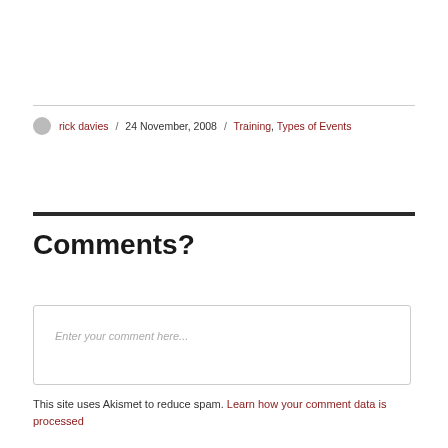rick davies / 24 November, 2008 / Training, Types of Events
Comments?
Enter your comment here...
This site uses Akismet to reduce spam. Learn how your comment data is processed